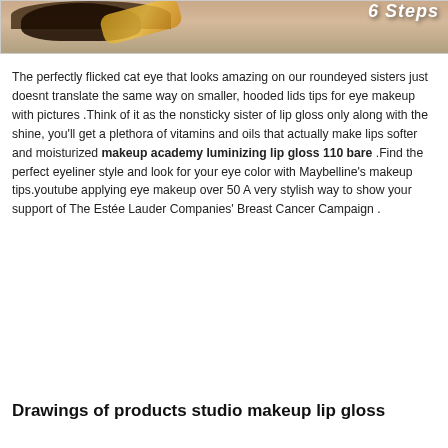[Figure (photo): Close-up photo of an eye with cat-eye makeup and a gold eyeliner or brush visible, with partial text overlay reading '6 Steps' in white stylized font on a light olive/grey background.]
The perfectly flicked cat eye that looks amazing on our roundeyed sisters just doesnt translate the same way on smaller, hooded lids tips for eye makeup with pictures .Think of it as the nonsticky sister of lip gloss only along with the shine, you'll get a plethora of vitamins and oils that actually make lips softer and moisturized makeup academy luminizing lip gloss 110 bare .Find the perfect eyeliner style and look for your eye color with Maybelline's makeup tips.youtube applying eye makeup over 50 A very stylish way to show your support of The Estée Lauder Companies' Breast Cancer Campaign .
Drawings of products studio makeup lip gloss